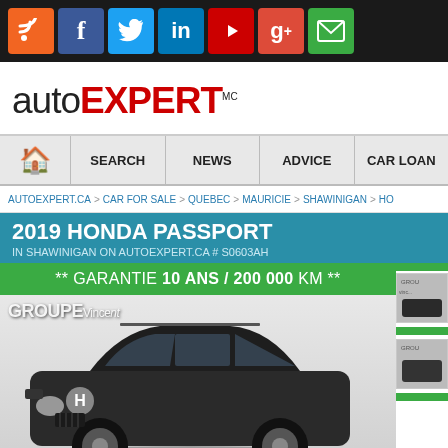Social media icons bar: RSS, Facebook, Twitter, LinkedIn, YouTube, Google+, Email
[Figure (logo): AutoExpert logo with 'auto' in dark and 'EXPERT' in red bold with TM mark]
Navigation: Home | SEARCH | NEWS | ADVICE | CAR LOAN
AUTOEXPERT.CA > CAR FOR SALE > QUEBEC > MAURICIE > SHAWINIGAN > HO...
2019 HONDA PASSPORT
IN SHAWINIGAN ON AUTOEXPERT.CA # S0603AH
[Figure (photo): Green guarantee banner reading '** GARANTIE 10 ANS / 200 000 KM **' above a dark Honda Passport SUV in a dealer showroom with GROUPE Vincent branding in background. Thumbnail strip on the right side.]